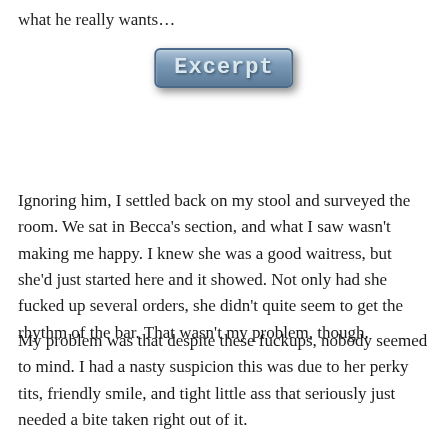what he really wants…
[Figure (illustration): Decorative badge/label graphic with the word 'Excerpt' styled in a metallic blue-gray embossed look with shadow]
Ignoring him, I settled back on my stool and surveyed the room. We sat in Becca's section, and what I saw wasn't making me happy. I knew she was a good waitress, but she'd just started here and it showed. Not only had she fucked up several orders, she didn't quite seem to get the rhythm of the bar. That wasn't my problem, though.
My problem was that despite these fuckups, nobody seemed to mind. I had a nasty suspicion this was due to her perky tits, friendly smile, and tight little ass that seriously just needed a bite taken right out of it.